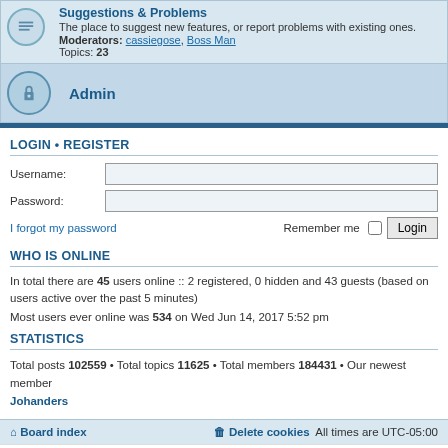Suggestions & Problems
The place to suggest new features, or report problems with existing ones. Moderators: cassiegose, Boss Man Topics: 23
Admin
LOGIN • REGISTER
Username:
Password:
I forgot my password
Remember me
WHO IS ONLINE
In total there are 45 users online :: 2 registered, 0 hidden and 43 guests (based on users active over the past 5 minutes)
Most users ever online was 534 on Wed Jun 14, 2017 5:52 pm
STATISTICS
Total posts 102559 • Total topics 11625 • Total members 184431 • Our newest member Johanders
Board index   Delete cookies   All times are UTC-05:00
Powered by phpBB® Forum Software © phpBB Limited
Privacy | Terms